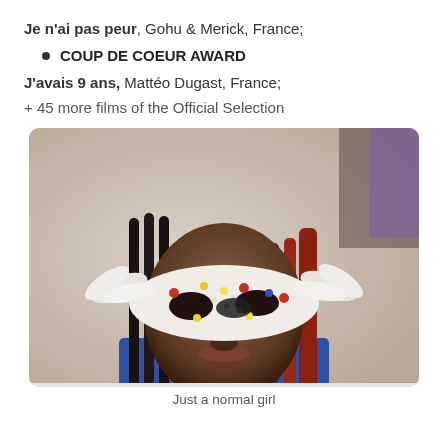Je n'ai pas peur, Gohu & Merick, France;
COUP DE COEUR AWARD
J'avais 9 ans, Mattéo Dugast, France;
+ 45 more films of the Official Selection
[Figure (photo): A young girl wearing a decorative masquerade mask adorned with colorful gems, sequins, and white feathers, with braided black and red hair, wearing a blue outfit.]
Just a normal girl